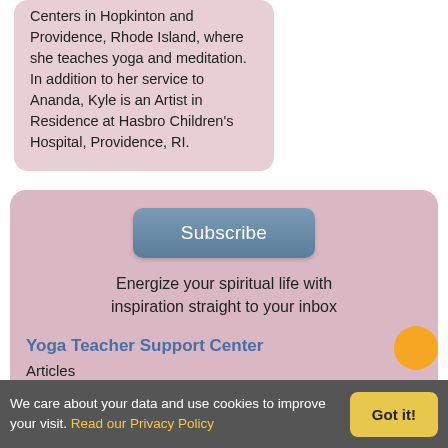Centers in Hopkinton and Providence, Rhode Island, where she teaches yoga and meditation. In addition to her service to Ananda, Kyle is an Artist in Residence at Hasbro Children's Hospital, Providence, RI.
[Figure (other): Blue-grey rounded subscribe button]
Energize your spiritual life with inspiration straight to your inbox
Yoga Teacher Support Center
Articles
Inspiration for Your Teaching
We care about your data and use cookies to improve your visit. Read our Privacy Policy